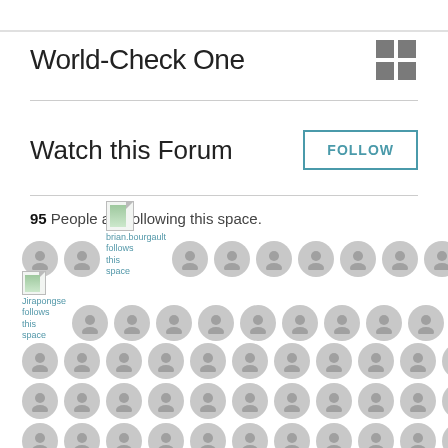World-Check One
Watch this Forum
95 People are following this space.
[Figure (screenshot): Grid of user avatar circles with two tooltip overlays showing 'brian.bourgault follows this space' and 'Jirapongse follows this space'. Most avatars are grey placeholder circles with a person silhouette icon. Approximately 5 rows of 12 avatar circles each.]